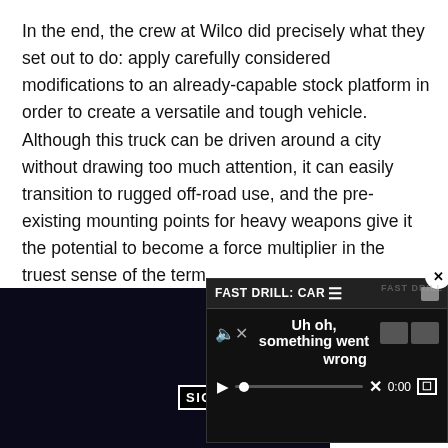In the end, the crew at Wilco did precisely what they set out to do: apply carefully considered modifications to an already-capable stock platform in order to create a versatile and tough vehicle. Although this truck can be driven around a city without drawing too much attention, it can easily transition to rugged off-road use, and the pre-existing mounting points for heavy weapons give it the potential to become a force multiplier in the truest sense of the term.
[Figure (screenshot): A video player screenshot showing a dark background with the text 'SION' visible in a white-bordered label. An error popup overlay shows 'FAST DRILL: CAR' in the header with 'Uh oh, something went wrong' as error text, a close button (x), speaker icon, thumbnail boxes, and video playback controls including play button, progress bar with X marker, 0:00 timestamp, and expand icon.]